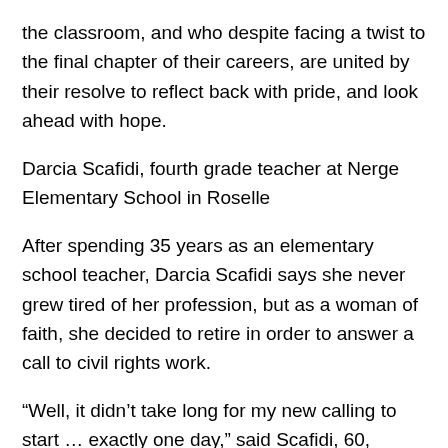the classroom, and who despite facing a twist to the final chapter of their careers, are united by their resolve to reflect back with pride, and look ahead with hope.
Darcia Scafidi, fourth grade teacher at Nerge Elementary School in Roselle
After spending 35 years as an elementary school teacher, Darcia Scafidi says she never grew tired of her profession, but as a woman of faith, she decided to retire in order to answer a call to civil rights work.
“Well, it didn’t take long for my new calling to start … exactly one day,” said Scafidi, 60, whose childhood memories include marching with her parents alongside the Rev. Martin